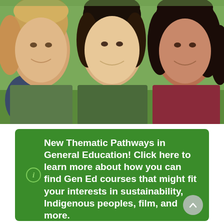[Figure (photo): Three smiling young women posing together closely, appearing to be college students. Green outdoor background.]
New Thematic Pathways in General Education! Click here to learn more about how you can find Gen Ed courses that might fit your interests in sustainability, Indigenous peoples, film, and more.